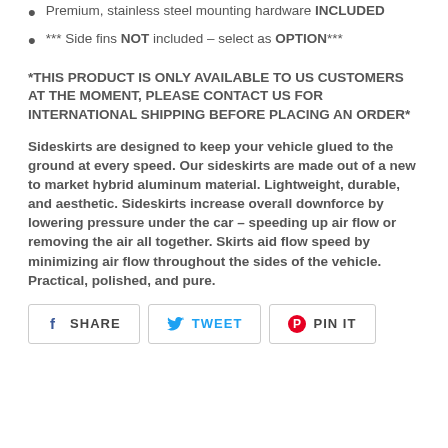Premium, stainless steel mounting hardware INCLUDED
*** Side fins NOT included – select as OPTION***
*THIS PRODUCT IS ONLY AVAILABLE TO US CUSTOMERS AT THE MOMENT, PLEASE CONTACT US FOR INTERNATIONAL SHIPPING BEFORE PLACING AN ORDER*
Sideskirts are designed to keep your vehicle glued to the ground at every speed. Our sideskirts are made out of a new to market hybrid aluminum material. Lightweight, durable, and aesthetic. Sideskirts increase overall downforce by lowering pressure under the car – speeding up air flow or removing the air all together. Skirts aid flow speed by minimizing air flow throughout the sides of the vehicle. Practical, polished, and pure.
[Figure (other): Social share buttons: SHARE (Facebook), TWEET (Twitter), PIN IT (Pinterest)]